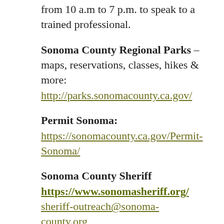from 10 a.m to 7 p.m. to speak to a trained professional.
Sonoma County Regional Parks – maps, reservations, classes, hikes & more: http://parks.sonomacounty.ca.gov/
Permit Sonoma: https://sonomacounty.ca.gov/Permit-Sonoma/
Sonoma County Sheriff https://www.sonomasheriff.org/ sheriff-outreach@sonoma-county.org To report suspicious activity, call 707-565-2121. To report a crime or safety emergency
because in some call 911. Please call the Sheriff...